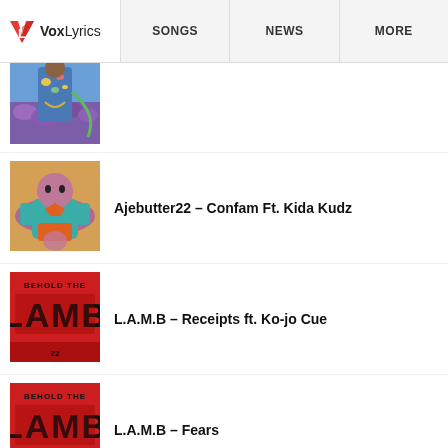VoxLyrics | SONGS | NEWS | MORE
[Figure (photo): Partial photo of a person in floral jacket outdoors with purple flowers]
Ajebutter22 – Confam Ft. Kida Kudz
L.A.M.B – Receipts ft. Ko-jo Cue
L.A.M.B – Fears
[Figure (photo): Partial red album cover showing BEHOLD THE LAMB text at bottom]